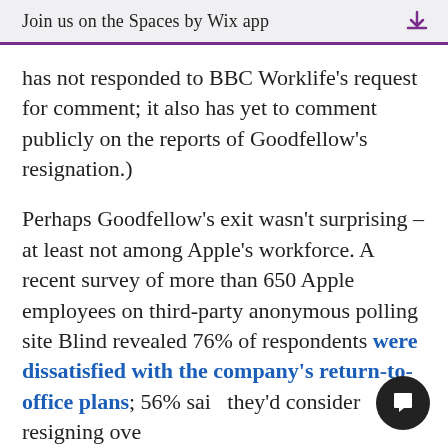Join us on the Spaces by Wix app
has not responded to BBC Worklife's request for comment; it also has yet to comment publicly on the reports of Goodfellow's resignation.)
Perhaps Goodfellow's exit wasn't surprising – at least not among Apple's workforce. A recent survey of more than 650 Apple employees on third-party anonymous polling site Blind revealed 76% of respondents were dissatisfied with the company's return-to-office plans; 56% said they'd consider resigning ove